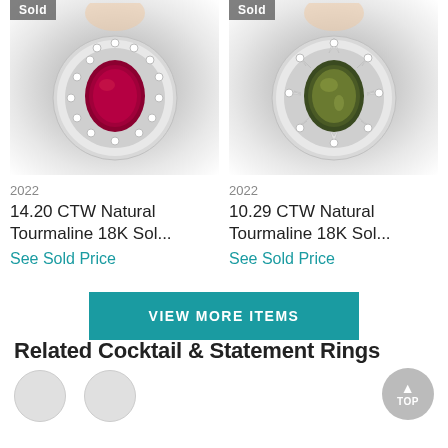[Figure (photo): Photo of a ruby tourmaline ring with diamond halo in 18K white gold setting, with 'Sold' badge in top left corner]
[Figure (photo): Photo of a green tourmaline ring with diamond halo in 18K white gold setting, with 'Sold' badge in top left corner]
2022
14.20 CTW Natural Tourmaline 18K Sol...
See Sold Price
2022
10.29 CTW Natural Tourmaline 18K Sol...
See Sold Price
VIEW MORE ITEMS
Related Cocktail & Statement Rings